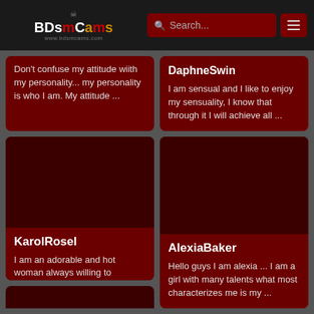BDsmCams | Search...
Don't confuse my attitude wiith my personality... my personality is who I am. My attitude ...
DaphneSwin
I am sensual and I like to enjoy my sensuality, I know that through it I will achieve all ...
KarolRosel
I am an adorable and hot woman always willing to undress with members who know how to trea...
AlexiaBaker
Hello guys I am alexia ... I am a girl with many talents what most characterizes me is my ...